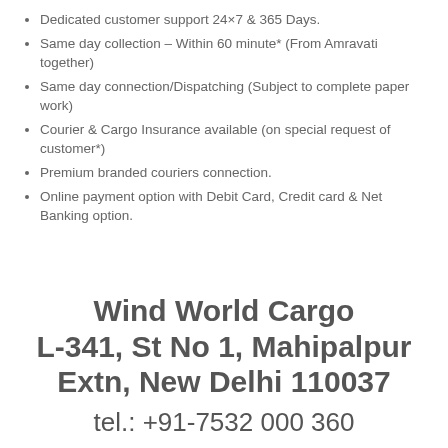Dedicated customer support 24×7 & 365 Days.
Same day collection – Within 60 minute* (From Amravati together)
Same day connection/Dispatching (Subject to complete paper work)
Courier & Cargo Insurance available (on special request of customer*)
Premium branded couriers connection.
Online payment option with Debit Card, Credit card & Net Banking option.
Wind World Cargo
L-341, St No 1, Mahipalpur Extn, New Delhi 110037
tel.: +91-7532 000 360